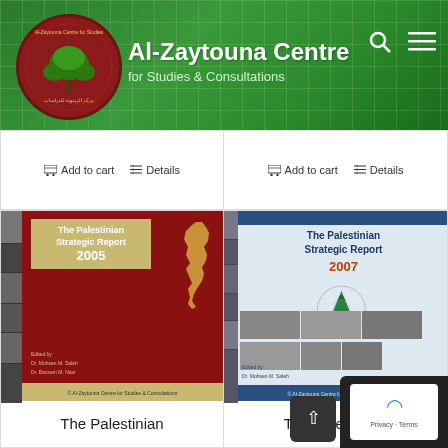[Figure (logo): Al-Zaytouna Centre for Studies & Consultations website header with logo (green background with tree logo) and navigation icons]
Al-Zaytouna Centre
for Studies & Consultations
Add to cart   Details   Add to cart   Details
[Figure (photo): Book cover: The Palestinian Strategic Report 2005, dark red cover with map of Palestine]
[Figure (photo): Book cover: The Palestinian Strategic Report 2007, light blue cover with Palestine emblem]
The Palestinian
The Palestinian